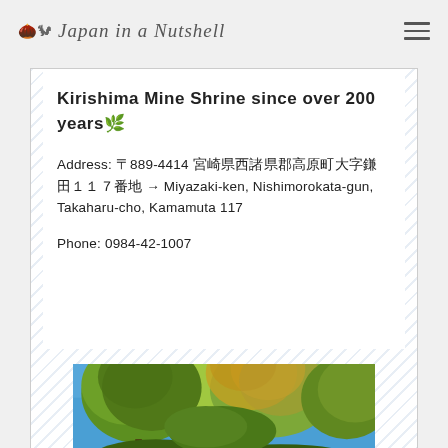Japan in a Nutshell
Kirishima Mine Shrine since over 200 years🌿
Address: 〒889-4414 宮崎県西諸県郡高原町大字鎌田１１７番地 → Miyazaki-ken, Nishimorokata-gun, Takaharu-cho, Kamamuta 117
Phone: 0984-42-1007
[Figure (photo): Outdoor photo showing large trees with green and autumn-colored foliage against a bright blue sky, with part of a traditional structure visible at the bottom left corner.]